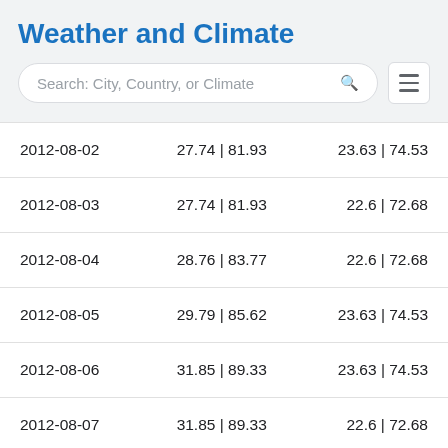Weather and Climate
| Date | Max Temp | Min Temp |
| --- | --- | --- |
| 2012-08-02 | 27.74 | 81.93 | 23.63 | 74.53 |
| 2012-08-03 | 27.74 | 81.93 | 22.6 | 72.68 |
| 2012-08-04 | 28.76 | 83.77 | 22.6 | 72.68 |
| 2012-08-05 | 29.79 | 85.62 | 23.63 | 74.53 |
| 2012-08-06 | 31.85 | 89.33 | 23.63 | 74.53 |
| 2012-08-07 | 31.85 | 89.33 | 22.6 | 72.68 |
| 2012-08-08 | 28.76 | 83.77 | 22.6 | 72.68 |